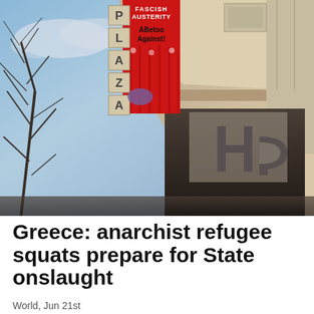[Figure (photo): Upward-angled photo of a building exterior with a red protest banner reading 'FASCISH AUSTERITY' and 'ABetoo Against!' hanging on it. The building has an HP logo and a vertical sign reading 'PLAZA'. Bare tree branches visible on the left against a cloudy blue sky.]
Greece: anarchist refugee squats prepare for State onslaught
World, Jun 21st